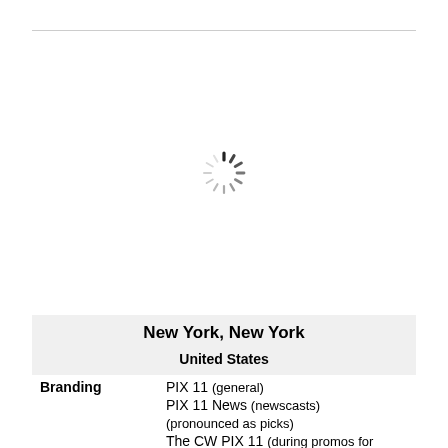[Figure (other): Loading spinner (circular dashed indicator) centered in the upper portion of the page]
|  | New York, New York
United States |
| --- | --- |
| Branding | PIX 11 (general)
PIX 11 News (newscasts)
(pronounced as picks)
The CW PIX 11 (during promos for |